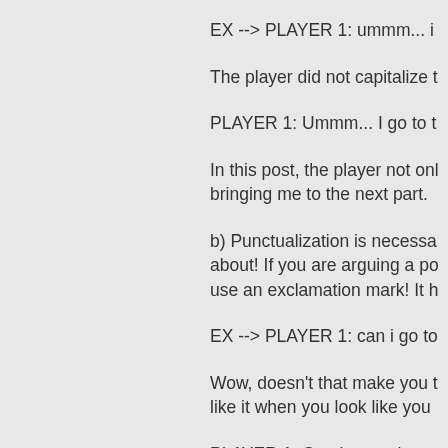EX --> PLAYER 1: ummm... i
The player did not capitalize t
PLAYER 1: Ummm... I go to t
In this post, the player not onl bringing me to the next part.
b) Punctualization is necessa about! If you are arguing a po use an exclamation mark! It h
EX --> PLAYER 1: can i go to
Wow, doesn't that make you t like it when you look like you
PLAYER 1: Can I go to the st
Doesn't that look a bit more c players.